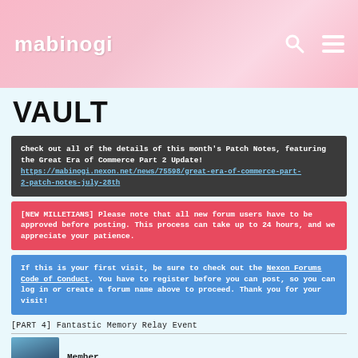Mabinogi
VAULT
Check out all of the details of this month's Patch Notes, featuring the Great Era of Commerce Part 2 Update! https://mabinogi.nexon.net/news/75598/great-era-of-commerce-part-2-patch-notes-july-28th
[NEW MILLETIANS] Please note that all new forum users have to be approved before posting. This process can take up to 24 hours, and we appreciate your patience.
If this is your first visit, be sure to check out the Nexon Forums Code of Conduct. You have to register before you can post, so you can log in or create a forum name above to proceed. Thank you for your visit!
[PART 4] Fantastic Memory Relay Event
Member